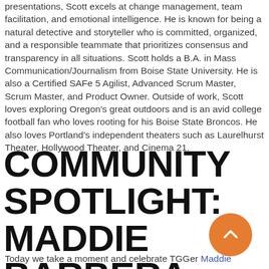presentations, Scott excels at change management, team facilitation, and emotional intelligence. He is known for being a natural detective and storyteller who is committed, organized, and a responsible teammate that prioritizes consensus and transparency in all situations. Scott holds a B.A. in Mass Communication/Journalism from Boise State University. He is also a Certified SAFe 5 Agilist, Advanced Scrum Master, Scrum Master, and Product Owner. Outside of work, Scott loves exploring Oregon's great outdoors and is an avid college football fan who loves rooting for his Boise State Broncos. He also loves Portland's independent theaters such as Laurelhurst Theater, Hollywood Theater, and Cinema 21.
COMMUNITY SPOTLIGHT: MADDIE BARBERA
Today we take a moment and celebrate TGGer Maddie